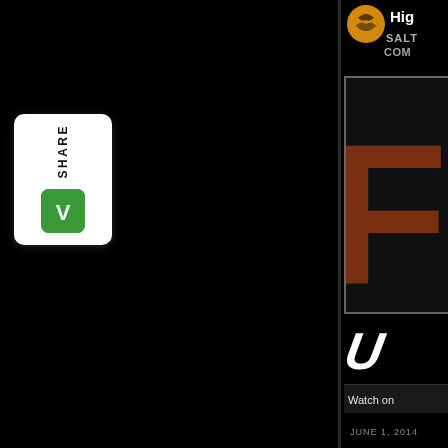[Figure (screenshot): Share widget with green Vimeo-style button and vertical SHARE label on white rounded rectangle card]
[Figure (logo): Salt Lake Comic Con / FanX logo partially visible - orange icon, SALT, COMIC text, large brown F letter on dark box]
[Figure (logo): UFC logo partially visible in white italic letters with Watch on text bar below]
JUNE 1, 2014
Reawakening Salt Lake C...
Interestingly enou... comic con ever. W...